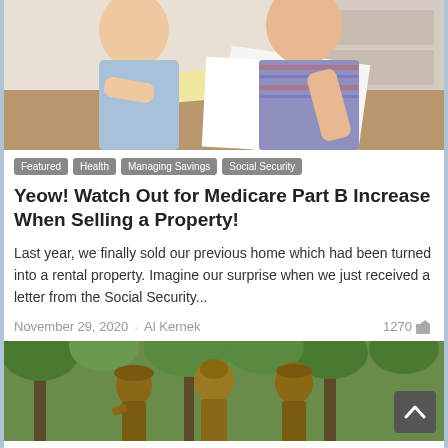[Figure (photo): Two people sitting at a table reviewing paperwork, woman in blue top and man in plaid shirt]
Featured
Health
Managing Savings
Social Security
Yeow! Watch Out for Medicare Part B Increase When Selling a Property!
Last year, we finally sold our previous home which had been turned into a rental property. Imagine our surprise when we just received a letter from the Social Security...
November 29, 2020  ·  Al Kernek   1270
[Figure (photo): Bronze military statues in a park with green trees in background]